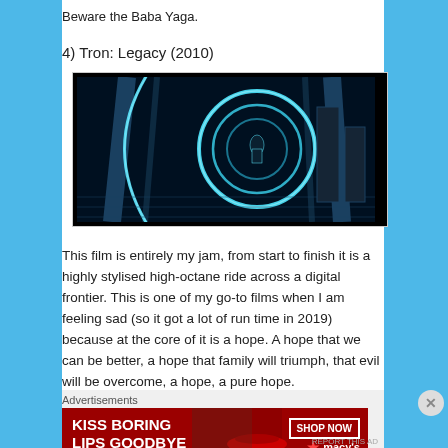Beware the Baba Yaga.
4) Tron: Legacy (2010)
[Figure (photo): Dark cinematic still from Tron: Legacy showing a figure surrounded by glowing blue circular light trails in a dark digital arena environment.]
This film is entirely my jam, from start to finish it is a highly stylised high-octane ride across a digital frontier. This is one of my go-to films when I am feeling sad (so it got a lot of run time in 2019) because at the core of it is a hope. A hope that we can be better, a hope that family will triumph, that evil will be overcome, a hope, a pure hope.
Advertisements
[Figure (photo): Macy's advertisement banner with dark red background showing a woman's face with bold red lips, text reading 'KISS BORING LIPS GOODBYE' and 'SHOP NOW' with Macy's star logo.]